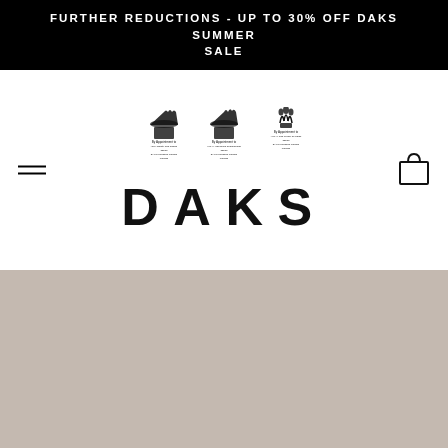FURTHER REDUCTIONS - UP TO 30% OFF DAKS SUMMER SALE
[Figure (logo): DAKS brand logo with three Royal Warrant crests above the DAKS wordmark in bold condensed lettering]
[Figure (illustration): Hamburger menu icon (three horizontal lines) on the left side of the navigation bar]
[Figure (illustration): Shopping bag icon on the right side of the navigation bar]